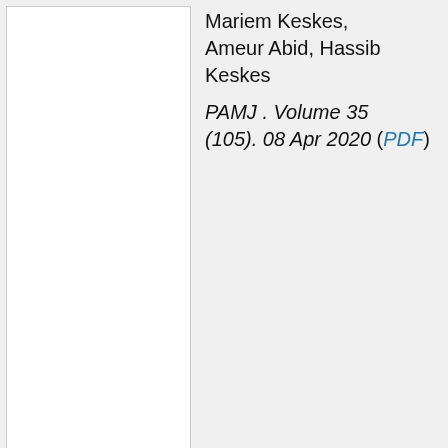Mariem Keskes, Ameur Abid, Hassib Keskes
PAMJ . Volume 35 (105). 08 Apr 2020 ( PDF )
Quality of age data in the Sierra Leone Ebola database
[Research]
Lindsay Shively Womack, Charles Alpren, Frederick